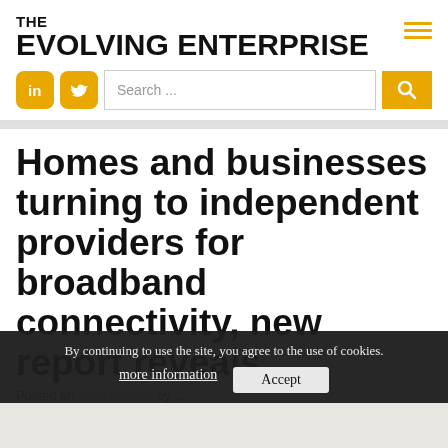THE EVOLVING ENTERPRISE
Homes and businesses turning to independent providers for broadband connectivity, new report reveals
Posted on June 8, 2021 by ...
By continuing to use the site, you agree to the use of cookies. more information  Accept
[Figure (photo): Partial image visible at the bottom of the page]